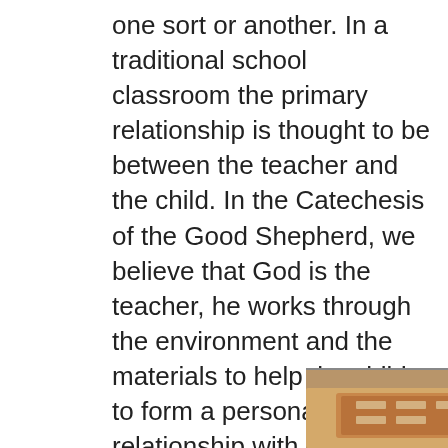one sort or another. In a traditional school classroom the primary relationship is thought to be between the teacher and the child. In the Catechesis of the Good Shepherd, we believe that God is the teacher, he works through the environment and the materials to help the child to form a personal relationship with him. The role of the adult is that of a guide or servant, waiting for the time to give a new presentation to allow the child to go deeper into their prayer with the Holy Spirit.
[Figure (photo): A child sitting at a table from behind, working with materials on a wooden surface, likely in a Catechesis of the Good Shepherd atrium setting.]